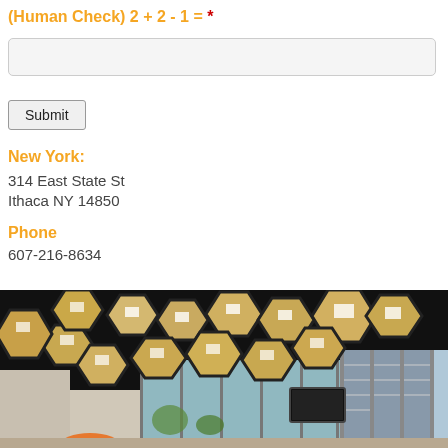(Human Check) 2 + 2 - 1 = *
[input field]
Submit
New York:
314 East State St
Ithaca NY 14850
Phone
607-216-8634
[Figure (photo): Interior photo of a modern office or coworking space showing hexagonal acoustic/lighting panels hanging from a dark ceiling, large floor-to-ceiling windows with a view of buildings outside, and colorful furniture visible at the bottom.]